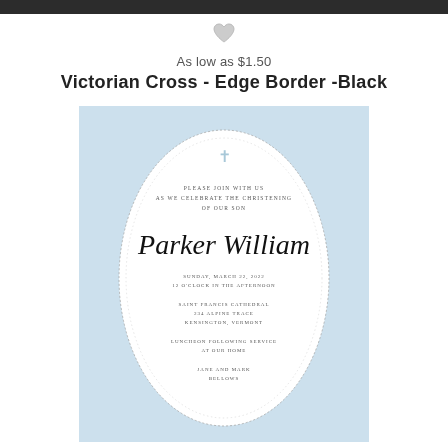As low as $1.50
Victorian Cross - Edge Border -Black
[Figure (illustration): A christening invitation card with light blue background, oval white center with dotted border, a light blue cross at top, script name 'Parker William', and event details for a christening on Sunday, March 22, 2022]